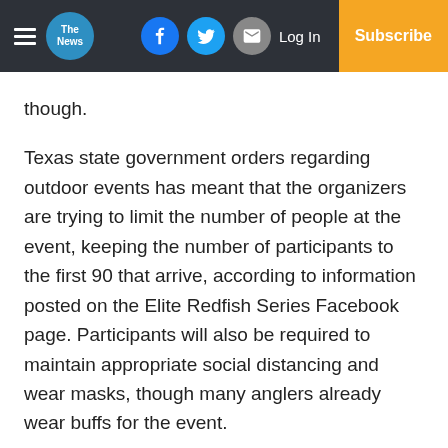The News — Log In | Subscribe
though.
Texas state government orders regarding outdoor events has meant that the organizers are trying to limit the number of people at the event, keeping the number of participants to the first 90 that arrive, according to information posted on the Elite Redfish Series Facebook page. Participants will also be required to maintain appropriate social distancing and wear masks, though many anglers already wear buffs for the event.
Pat Malone, event organizer, said that the public is